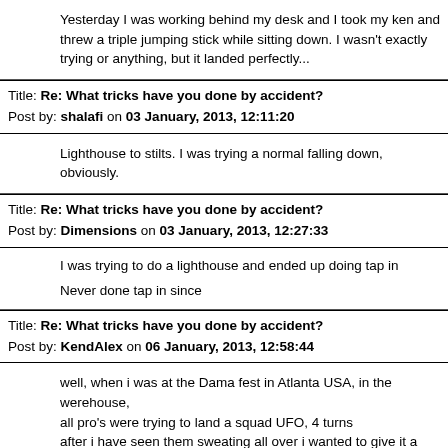Yesterday I was working behind my desk and I took my ken and threw a triple jumping stick while sitting down. I wasn't exactly trying or anything, but it landed perfectly...
Title: Re: What tricks have you done by accident?
Post by: shalafi on 03 January, 2013, 12:11:20
Lighthouse to stilts. I was trying a normal falling down, obviously.
Title: Re: What tricks have you done by accident?
Post by: Dimensions on 03 January, 2013, 12:27:33
I was trying to do a lighthouse and ended up doing tap in
Never done tap in since
Title: Re: What tricks have you done by accident?
Post by: KendAlex on 06 January, 2013, 12:58:44
well, when i was at the Dama fest in Atlanta USA, in the werehouse,
all pro's were trying to land a squad UFO, 4 turns
after i have seen them sweating all over i wanted to give it a shot,
at my 5th attempt i nailded the trick,